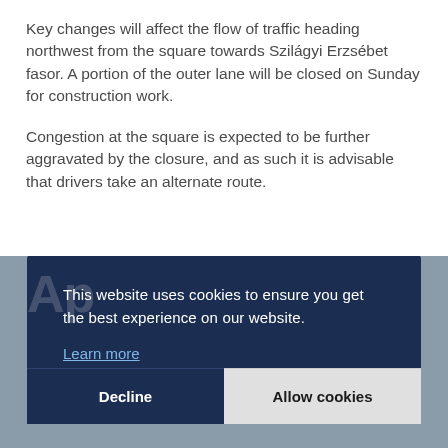Key changes will affect the flow of traffic heading northwest from the square towards Szilágyi Erzsébet fasor. A portion of the outer lane will be closed on Sunday for construction work.
Congestion at the square is expected to be further aggravated by the closure, and as such it is advisable that drivers take an alternate route.
[Figure (screenshot): Cookie consent banner overlay on a webpage. Dark navy background with white text reading 'This website uses cookies to ensure you get the best experience on our website.' with a 'Learn more' link. Two buttons at bottom: 'Decline' on the left (dark background) and 'Allow cookies' on the right (light gray background). A faint watermark-style 'Ap...' text is visible behind the banner, with a photo of people partially visible at the bottom.]